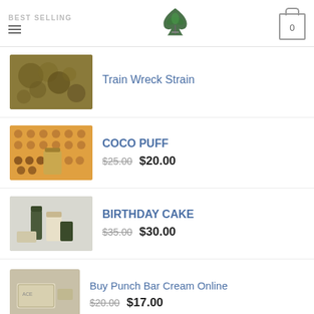BEST SELLING
Train Wreck Strain
COCO PUFF — $25.00 / $20.00
BIRTHDAY CAKE — $35.00 / $30.00
Buy Punch Bar Cream Online — $20.00 / $17.00
TOP RATED